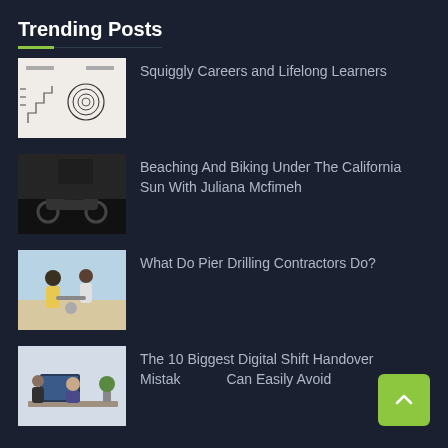Trending Posts
Squiggly Careers and Lifelong Learners
Beaching And Biking Under The California Sun With Juliana Mcfimeh
What Do Pier Drilling Contractors Do?
The 10 Biggest Digital Shift Handover Mistakes You Can Easily Avoid